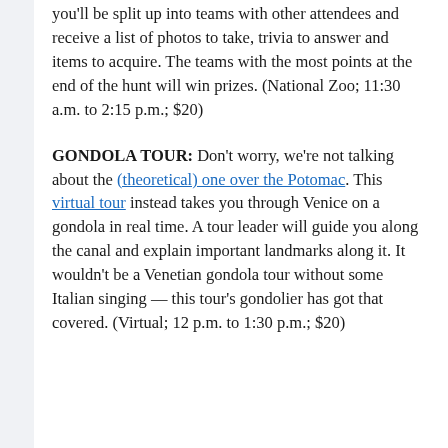you'll be split up into teams with other attendees and receive a list of photos to take, trivia to answer and items to acquire. The teams with the most points at the end of the hunt will win prizes. (National Zoo; 11:30 a.m. to 2:15 p.m.; $20)
GONDOLA TOUR: Don't worry, we're not talking about the (theoretical) one over the Potomac. This virtual tour instead takes you through Venice on a gondola in real time. A tour leader will guide you along the canal and explain important landmarks along it. It wouldn't be a Venetian gondola tour without some Italian singing — this tour's gondolier has got that covered. (Virtual; 12 p.m. to 1:30 p.m.; $20)